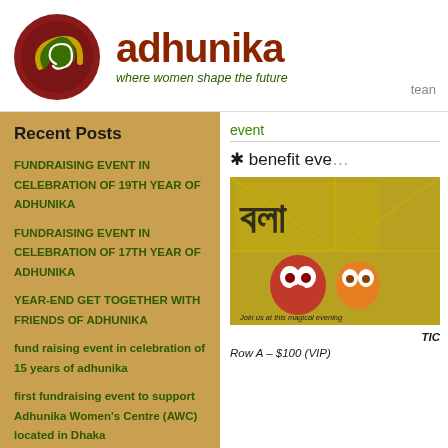[Figure (logo): Adhunika organization logo: circular dark red border with green and yellow swirl inside, with organization name 'adhunika' in brown-red gradient and tagline 'where women shape the future' in dark green italic]
team
Recent Posts
FUNDRAISING EVENT IN CELEBRATION OF 19th YEAR OF ADHUNIKA
FUNDRAISING EVENT IN CELEBRATION OF 17th YEAR OF ADHUNIKA
YEAR-END GET TOGETHER WITH FRIENDS OF ADHUNIKA
fund raising event in celebration of 15 years of adhunika
first fundraising event to support Adhunika Women's Centre (AWC) located in Dhaka
year-end get together with friends of adhunika
event
* benefit eve...
[Figure (photo): Event promotional image with Bengali text and colorful illustrated characters on yellow background, with text 'Join us at this magical evening']
TIC
Row A – $100 (VIP)